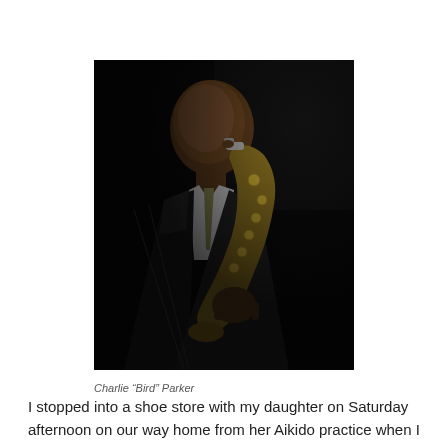[Figure (photo): Black and white photograph of Charlie 'Bird' Parker playing saxophone, wearing a pinstripe suit, dark background]
Charlie “Bird” Parker
I stopped into a shoe store with my daughter on Saturday afternoon on our way home from her Aikido practice when I